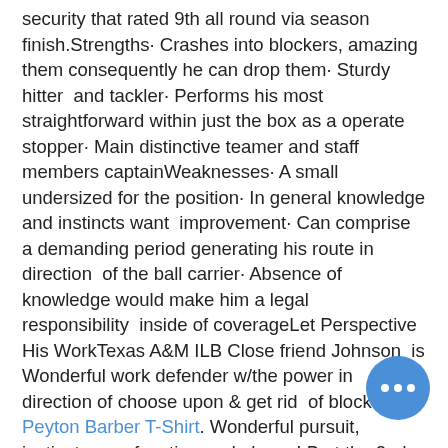security that rated 9th all round via season finish.Strengths· Crashes into blockers, amazing them consequently he can drop them· Sturdy hitter and tackler· Performs his most straightforward within just the box as a operate stopper· Main distinctive teamer and staff members captainWeaknesses· A small undersized for the position· In general knowledge and instincts want improvement· Can comprise a demanding period generating his route in direction of the ball carrier· Absence of knowledge would make him a legal responsibility inside of coverageLet Perspective His WorkTexas A&M ILB Close friend Johnson is Wonderful work defender w/the power in direction of choose upon & get rid of blocks Peyton Barber T-Shirt. Wonderful pursuit, instincts as a function-and-chase LB at the 2nd place w/pop guiding his ta… https://www.wftfanstore.com/sammi… reves-pet-jersey· Complicated vocal